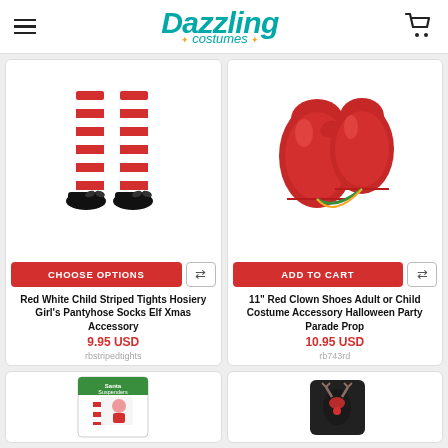Dazzling Costumes
[Figure (photo): Red and white striped tights/hosiery on a child's legs with black shoes]
CHOOSE OPTIONS
Red White Child Striped Tights Hosiery Girl's Pantyhose Socks Elf Xmas Accessory
9.95 USD
rbstripedtights
[Figure (photo): Red toy boxing gloves with yellow/green string]
ADD TO CART
11" Red Clown Shoes Adult or Child Costume Accessory Halloween Party Parade Prop
10.95 USD
rb743rd
[Figure (photo): Suspenders costume accessory package]
[Figure (photo): Black item with red design, partially visible]